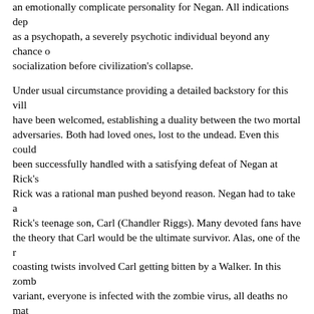an emotionally complicate personality for Negan. All indications dep as a psychopath, a severely psychotic individual beyond any chance o socialization before civilization's collapse.
Under usual circumstance providing a detailed backstory for this vill have been welcomed, establishing a duality between the two mortal adversaries. Both had loved ones, lost to the undead. Even this could been successfully handled with a satisfying defeat of Negan at Rick's Rick was a rational man pushed beyond reason. Negan had to take a Rick's teenage son, Carl (Chandler Riggs). Many devoted fans have the theory that Carl would be the ultimate survivor. Alas, one of the r coasting twists involved Carl getting bitten by a Walker. In this zomb variant, everyone is infected with the zombie virus, all deaths no mat cause, results in turn. However, Walkers are carries for a myriad of conventional and very lethal infections. The details of this scenario a for the insertion of an overly, melodramatic, prolonged death. Most t series exhibit a degree of soap opera infused in their makeup, but in t instance, the screenwriters pushed the plot contrivance too far consid overall tenure of the story. It came off too forced, particularly for a sh tries to create a sense of dread and terror through a realistic depiction fantasy horror. I fully understand the responsibility of the showrunne provide suitably emotional plot points and that often the most succes to achieve this is killing off a popular character, especially relatively short, sharp shock, (apologies to Gilbert and Sullivan), would maxim impact, heightening the inherent emotional punch. The thread was ar